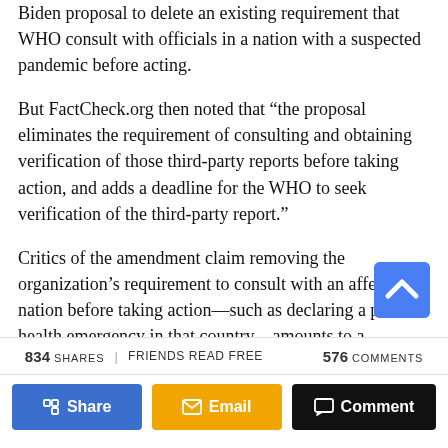Biden proposal to delete an existing requirement that WHO consult with officials in a nation with a suspected pandemic before acting.
But FactCheck.org then noted that “the proposal eliminates the requirement of consulting and obtaining verification of those third-party reports before taking action, and adds a deadline for the WHO to seek verification of the third-party report.”
Critics of the amendment claim removing the organization’s requirement to consult with an affected nation before taking action—such as declaring a public health emergency in that country—amounts to a unilateral grant of power to the international health
834 SHARES | FRIENDS READ FREE   576 COMMENTS   Share   Email   Comment